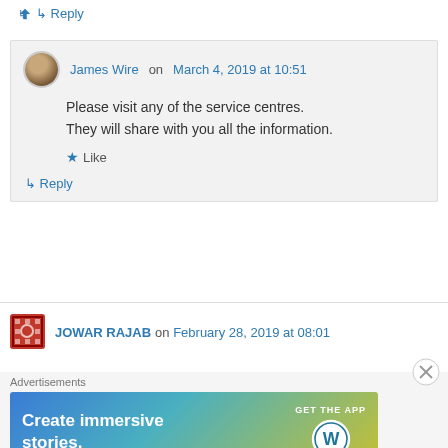↳ Reply
James Wire on March 4, 2019 at 10:51
Please visit any of the service centres. They will share with you all the information.
★ Like
↳ Reply
JOWAR RAJAB on February 28, 2019 at 08:01
[Figure (screenshot): WordPress advertisement banner: 'Create immersive stories. GET THE APP' with WordPress logo]